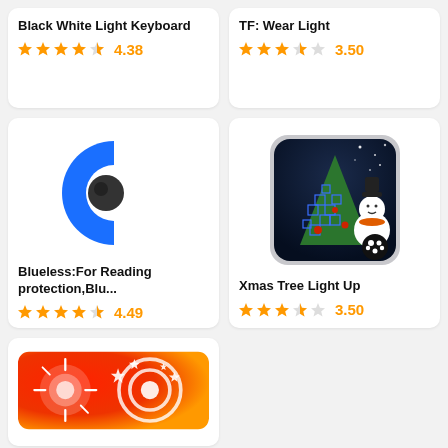Black White Light Keyboard
★★★★☆ 4.38
TF: Wear Light
★★★★☆ 3.50
[Figure (illustration): Blueless app icon: blue C-shape logo with dark eye on white background]
Blueless:For Reading protection,Blu...
★★★★☆ 4.49
[Figure (illustration): Xmas Tree Light Up app icon: Christmas tree maze with snowman on dark night sky background, paw print badge]
Xmas Tree Light Up
★★★★☆ 3.50
[Figure (illustration): App icon with red-orange gradient background, white target/bullseye, sparkle stars]